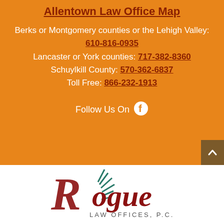Allentown Law Office Map
Berks or Montgomery counties or the Lehigh Valley: 610-816-0935
Lancaster or York counties: 717-382-8360
Schuylkill County: 570-362-6837
Toll Free: 866-232-1913
Follow Us On
[Figure (logo): Rogue Law Offices, P.C. logo with stylized R and green plant/pineapple design in red and teal colors]